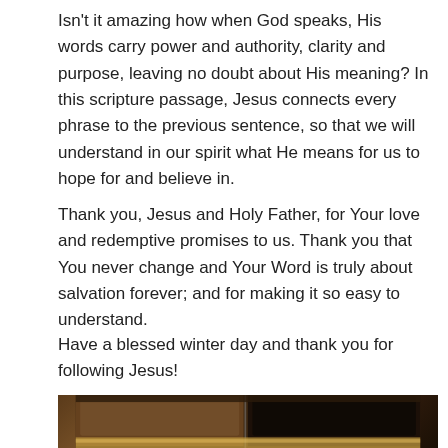Isn't it amazing how when God speaks, His words carry power and authority, clarity and purpose, leaving no doubt about His meaning? In this scripture passage, Jesus connects every phrase to the previous sentence, so that we will understand in our spirit what He means for us to hope for and believe in.
Thank you, Jesus and Holy Father, for Your love and redemptive promises to us. Thank you that You never change and Your Word is truly about salvation forever; and for making it so easy to understand.
Have a blessed winter day and thank you for following Jesus!
[Figure (photo): A partially visible photograph at the bottom of the page showing what appears to be a dark wood-toned surface or table, with warm brown and dark tones.]